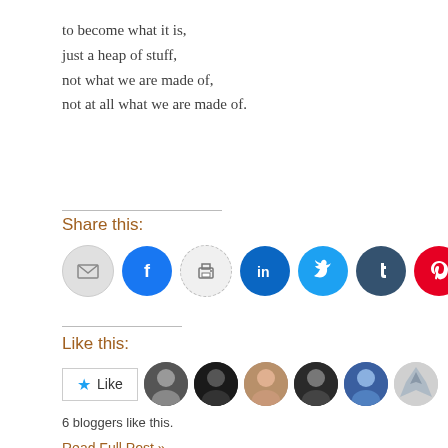to become what it is,
just a heap of stuff,
not what we are made of,
not at all what we are made of.
Share this:
[Figure (infographic): Social share buttons: email, Facebook, print, LinkedIn, Twitter, Tumblr, Pinterest]
Like this:
[Figure (infographic): Like button with star icon and 6 blogger avatars]
6 bloggers like this.
Read Full Post »
Would I Sing More?
Posted in Uncategorized, tagged death, life, poems, poetry, soul on March 7, 2012| 6 C